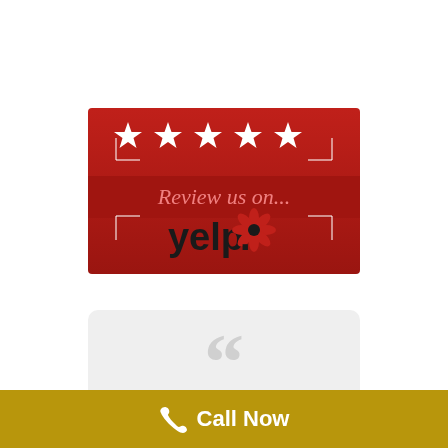[Figure (logo): Red Yelp banner with five white stars at top, white bracket frame, text 'Review us on...' in pink/light red, and Yelp logo in black with red burst icon below]
[Figure (other): Light gray rounded card with large decorative quotation marks in light gray and text 'Dr. Charlotte Sarshad, is']
Call Now